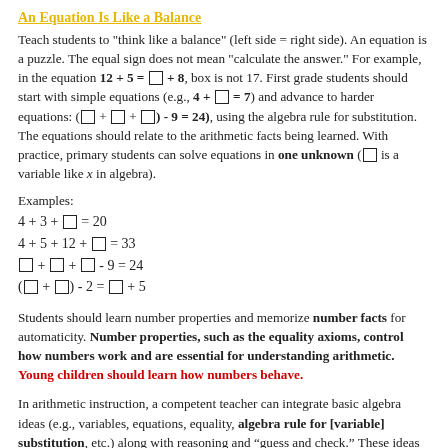An Equation Is Like a Balance
Teach students to "think like a balance" (left side = right side). An equation is a puzzle. The equal sign does not mean "calculate the answer." For example, in the equation 12 + 5 = □ + 8, box is not 17. First grade students should start with simple equations (e.g., 4 + □ = 7) and advance to harder equations: (□ + □ + □) - 9 = 24), using the algebra rule for substitution. The equations should relate to the arithmetic facts being learned. With practice, primary students can solve equations in one unknown (□ is a variable like x in algebra).
Examples:
Students should learn number properties and memorize number facts for automaticity. Number properties, such as the equality axioms, control how numbers work and are essential for understanding arithmetic. Young children should learn how numbers behave.
In arithmetic instruction, a competent teacher can integrate basic algebra ideas (e.g., variables, equations, equality, algebra rule for [variable] substitution, etc.) along with reasoning and "guess and check." These ideas